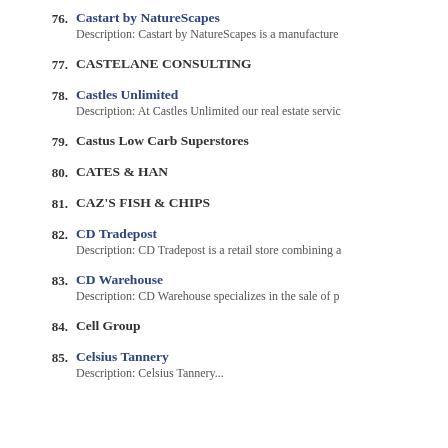76. Castart by NatureScapes — Description: Castart by NatureScapes is a manufacture
77. CASTELANE CONSULTING
78. Castles Unlimited — Description: At Castles Unlimited our real estate servic
79. Castus Low Carb Superstores
80. CATES & HAN
81. CAZ'S FISH & CHIPS
82. CD Tradepost — Description: CD Tradepost is a retail store combining a
83. CD Warehouse — Description: CD Warehouse specializes in the sale of p
84. Cell Group
85. Celsius Tannery — Description: Celsius Tannery...